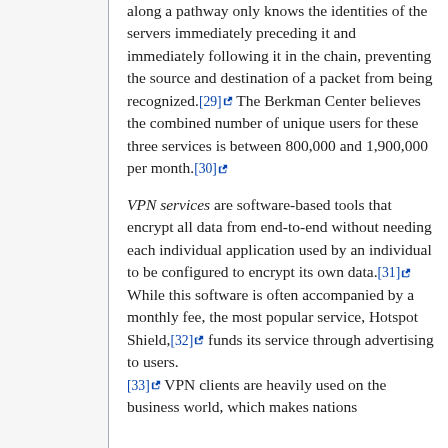along a pathway only knows the identities of the servers immediately preceding it and immediately following it in the chain, preventing the source and destination of a packet from being recognized.[29] The Berkman Center believes the combined number of unique users for these three services is between 800,000 and 1,900,000 per month.[30]
VPN services are software-based tools that encrypt all data from end-to-end without needing each individual application used by an individual to be configured to encrypt its own data.[31] While this software is often accompanied by a monthly fee, the most popular service, Hotspot Shield,[32] funds its service through advertising to users.[33] VPN clients are heavily used on the business world, which makes nations